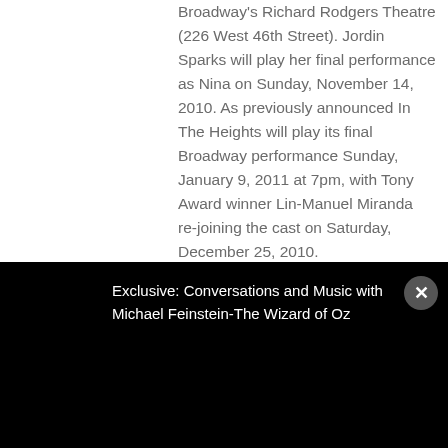Broadway's Richard Rodgers Theatre (226 West 46th Street). Jordin Sparks will play her final performance as Nina on Sunday, November 14, 2010. As previously announced In The Heights will play its final Broadway performance Sunday, January 9, 2011 at 7pm, with Tony Award winner Lin-Manuel Miranda re-joining the cast on Saturday, December 25, 2010.
Jackson & Stewart Return to
Exclusive: Conversations and Music with Michael Feinstein-The Wizard of Oz